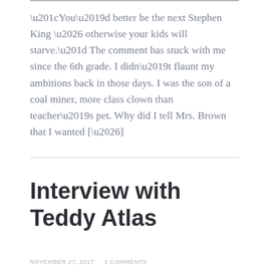“You’d better be the next Stephen King … otherwise your kids will starve.” The comment has stuck with me since the 6th grade. I didn’t flaunt my ambitions back in those days. I was the son of a coal miner, more class clown than teacher’s pet. Why did I tell Mrs. Brown that I wanted […]
Interview with Teddy Atlas
NOVEMBER 27, 2017     2 COMMENTS